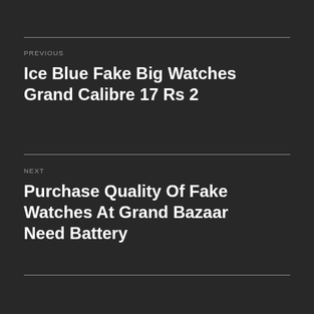PREVIOUS
Ice Blue Fake Big Watches Grand Calibre 17 Rs 2
NEXT
Purchase Quality Of Fake Watches At Grand Bazaar Need Battery